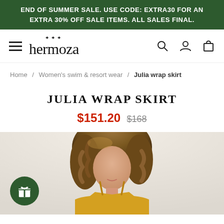END OF SUMMER SALE. USE CODE: EXTRA30 FOR AN EXTRA 30% OFF SALE ITEMS. ALL SALES FINAL.
[Figure (logo): Hermoza brand logo with hamburger menu icon on the left and search, account, cart icons on the right]
Home / Women's swim & resort wear / Julia wrap skirt
JULIA WRAP SKIRT
$151.20 $168
[Figure (photo): Model wearing a yellow/gold wrap skirt with thin straps, wavy blonde-brown hair, photo cropped at upper body]